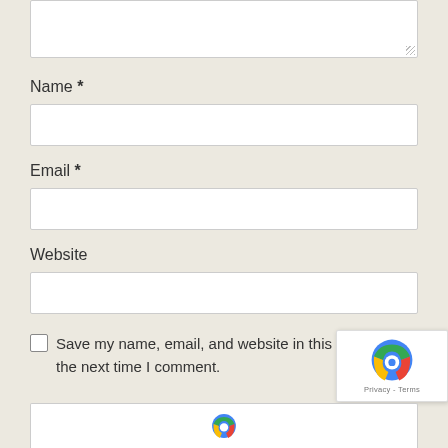[Figure (screenshot): Textarea input box (comment field), partially visible at top of page with resize handle at bottom-right corner]
Name *
[Figure (screenshot): Name text input field (empty)]
Email *
[Figure (screenshot): Email text input field (empty)]
Website
[Figure (screenshot): Website text input field (empty)]
Save my name, email, and website in this browser for the next time I comment.
[Figure (logo): reCAPTCHA badge with blue/grey reCAPTCHA logo icon and Privacy - Terms text]
[Figure (screenshot): Bottom reCAPTCHA widget bar partially visible]